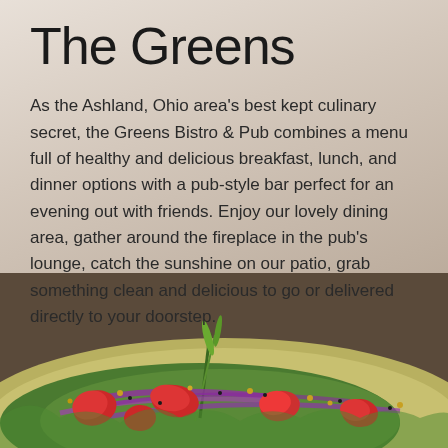The Greens
As the Ashland, Ohio area's best kept culinary secret, the Greens Bistro & Pub combines a menu full of healthy and delicious breakfast, lunch, and dinner options with a pub-style bar perfect for an evening out with friends. Enjoy our lovely dining area, gather around the fireplace in the pub's lounge, catch the sunshine on our patio, grab something clean and delicious to go or delivered directly to your doorstep.
[Figure (photo): Close-up photo of a colorful salad with strawberries, red onion slices, green vegetables, and seeds/nuts on a light-colored plate, occupying the bottom portion of the page.]